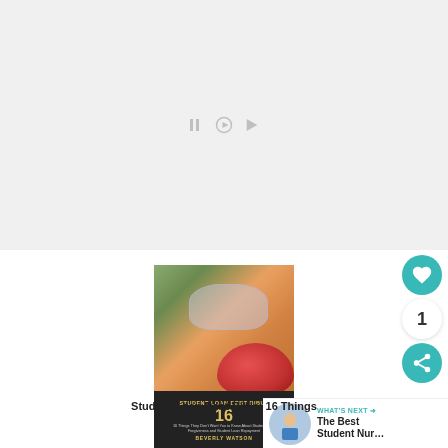[Figure (other): Gray placeholder area for a video or media player, with small playback control icons visible in the center]
[Figure (photo): Book cover for 'Student Loan Debt Bible' by Beverly Watson. Shows a young boy wearing safety goggles examining a red petri dish. The cover has a dark bottom section with gold text reading 'STUDENT LOAN DEBT BIBLE', a large '16', subtitle text, and author name BEVERLY WATSON.]
Student Loan Debt Bible: 16 Things